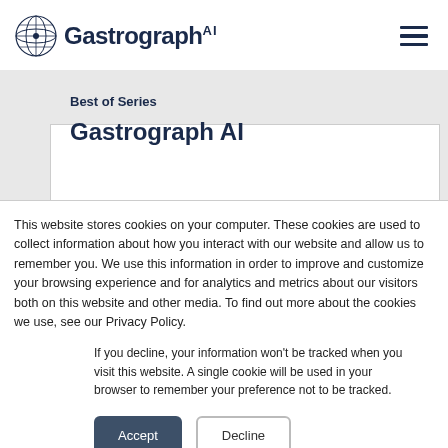Gastrograph AI
[Figure (screenshot): Partially visible webpage background showing a card with 'Best of Series' and 'Gastrograph AI' heading]
This website stores cookies on your computer. These cookies are used to collect information about how you interact with our website and allow us to remember you. We use this information in order to improve and customize your browsing experience and for analytics and metrics about our visitors both on this website and other media. To find out more about the cookies we use, see our Privacy Policy.
If you decline, your information won't be tracked when you visit this website. A single cookie will be used in your browser to remember your preference not to be tracked.
Accept   Decline